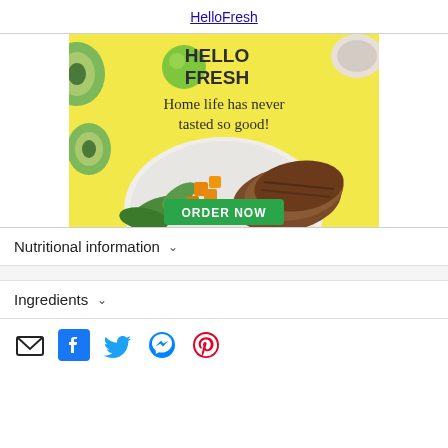HelloFresh
[Figure (photo): HelloFresh advertisement banner featuring a plate of grilled meat with vegetable salad on a yellow background with avocado slices. Text reads: HELLO FRESH - Home life has never tasted so good! with an ORDER NOW green button.]
Nutritional information ∨
Ingredients ∨
[Figure (other): Social sharing icons row: email (envelope), Facebook, Twitter, Messenger, Pinterest]